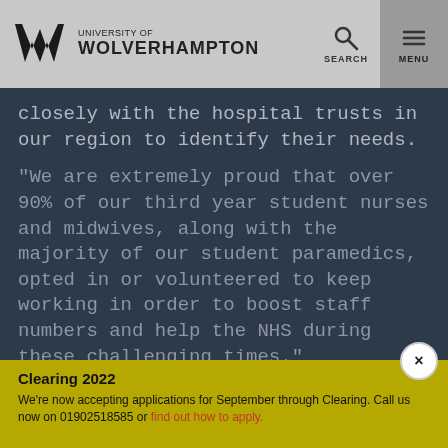University of Wolverhampton
closely with the hospital trusts in our region to identify their needs.
“We are extremely proud that over 90% of our third year student nurses and midwives, along with the majority of our student paramedics, opted in or volunteered to keep working in order to boost staff numbers and help the NHS during these challenging times.”
Clearing 2022
We’re now accepting applications for September through Clearing. Call us now on 01902518585 or find out how to apply.